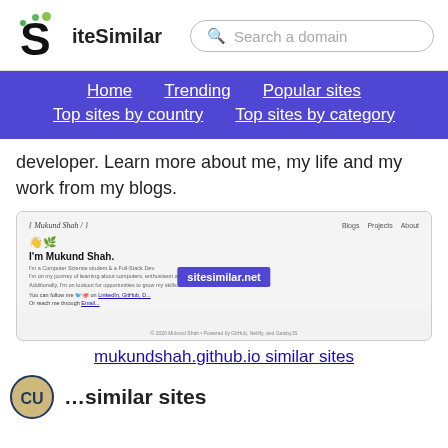SiteSimilar — Search a domain
Home  Trending  Popular sites  Top sites by country  Top sites by category
developer. Learn more about me, my life and my work from my blogs.
[Figure (screenshot): Screenshot of mukundshah.github.io personal website showing 'I'm Mukund Shah.' header with sitesimilar.net watermark overlay]
mukundshah.github.io similar sites
[Figure (logo): University of Colorado logo (CU buffalo logo in gold/black)]